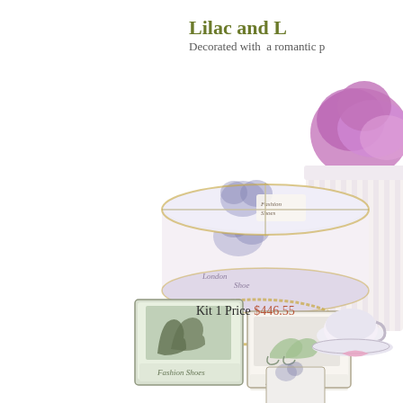Lilac and L
Decorated with  a romantic p
[Figure (photo): Product photo showing decorative lilac-themed gift boxes and containers including a round hat box with violet floral designs, small shoe boxes with miniature shoe figurines, a striped rectangular box with purple flowers and ribbon, and purple tissue paper, all arranged on a white surface with a gold rope/chain.]
Kit 1 Price $446.55